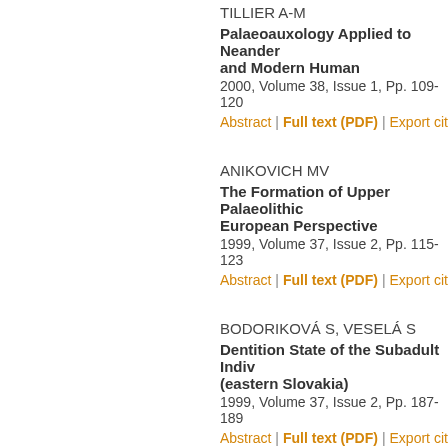TILLIER A-M
Palaeoauxology Applied to Neander and Modern Human
2000, Volume 38, Issue 1, Pp. 109-120
Abstract | Full text (PDF) | Export cit
ANIKOVICH MV
The Formation of Upper Palaeolithic European Perspective
1999, Volume 37, Issue 2, Pp. 115-123
Abstract | Full text (PDF) | Export cit
BODORIKOVÁ S, VESELÁ S
Dentition State of the Subadult Indiv (eastern Slovakia)
1999, Volume 37, Issue 2, Pp. 187-189
Abstract | Full text (PDF) | Export cit
FRIESS M